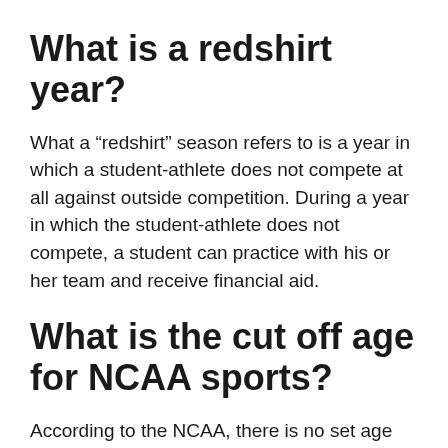What is a redshirt year?
What a “redshirt” season refers to is a year in which a student-athlete does not compete at all against outside competition. During a year in which the student-athlete does not compete, a student can practice with his or her team and receive financial aid.
What is the cut off age for NCAA sports?
According to the NCAA, there is no set age limit for any athletes. However, Division I athletes are required to enroll in school one calendar year after high school graduation and then have just five years to complete a